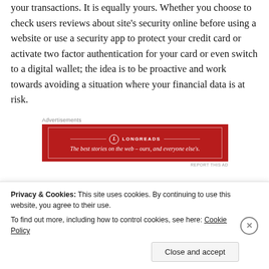your transactions. It is equally yours. Whether you choose to check users reviews about site's security online before using a website or use a security app to protect your credit card or activate two factor authentication for your card or even switch to a digital wallet; the idea is to be proactive and work towards avoiding a situation where your financial data is at risk.
[Figure (other): Longreads advertisement banner — red background with white border, logo and tagline 'The best stories on the web – ours, and everyone else's.']
By following simple guidelines that typically don't take
Privacy & Cookies: This site uses cookies. By continuing to use this website, you agree to their use.
To find out more, including how to control cookies, see here: Cookie Policy